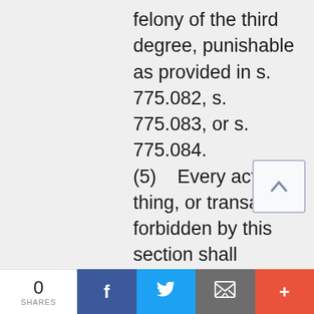felony of the third degree, punishable as provided in s. 775.082, s. 775.083, or s. 775.084. (5)   Every act, thing, or transaction forbidden by this section shall constitute a separate offense and shall be punishable as such. (6)  Proof that a
0 SHARES  [Facebook] [Twitter] [Email] [More]